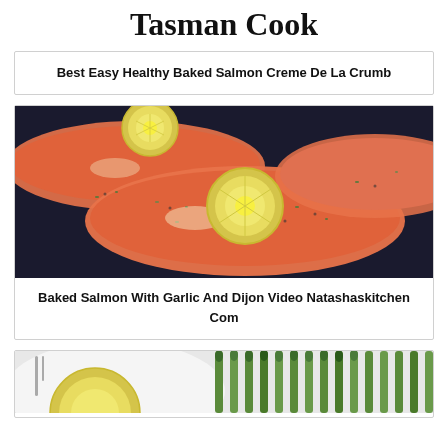Tasman Cook
Best Easy Healthy Baked Salmon Creme De La Crumb
[Figure (photo): Baked salmon fillets with lemon slices and herb (garlic, dill) topping on a dark surface]
Baked Salmon With Garlic And Dijon Video Natashaskitchen Com
[Figure (photo): Partial view of a plate with lemon and asparagus, bottom of page]